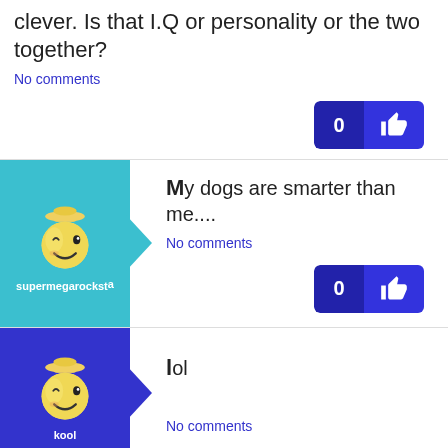clever. Is that I.Q or personality or the two together?
No comments
My dogs are smarter than me....
No comments
supermegarocksta
lol
No comments
kool